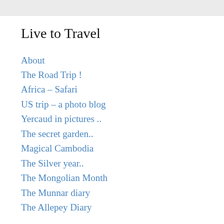Live to Travel
About
The Road Trip !
Africa – Safari
US trip – a photo blog
Yercaud in pictures ..
The secret garden..
Magical Cambodia
The Silver year..
The Mongolian Month
The Munnar diary
The Allepey Diary